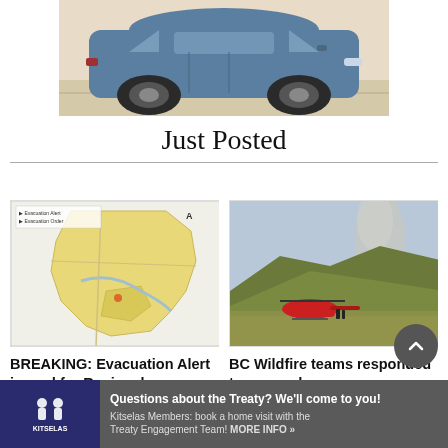[Figure (photo): Blue SUV / crossover vehicle photographed from the side, on a light tan/beige outdoor background]
Just Posted
[Figure (map): Regional map showing an evacuation alert area, with yellow highlighted regions indicating the affected district]
BREAKING: Evacuation Alert issued for Regional
[Figure (photo): BC wildfire scene with a red helicopter on a hillside and smoke rising in the background over mountains]
BC Wildfire teams responded to over a dozen
[Figure (other): Kitselas Treaty advertisement banner: navy and grey banner with Kitselas logo and text 'Questions about the Treaty? We'll come to you! Kitselas Members: book a home visit with the Treaty Engagement Team! MORE INFO »']